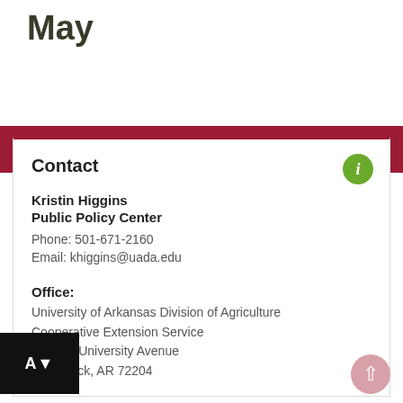May
[Figure (screenshot): Dark red navigation bar with hamburger menu icon (three white horizontal lines)]
Contact
Kristin Higgins
Public Policy Center
Phone: 501-671-2160
Email: khiggins@uada.edu
Office:
University of Arkansas Division of Agriculture
Cooperative Extension Service
2301 S. University Avenue
Little Rock, AR 72204